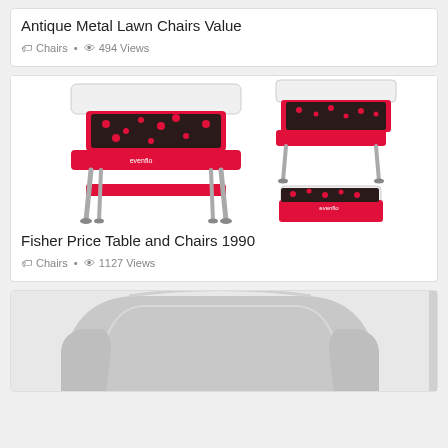Antique Metal Lawn Chairs Value
Chairs · 494 Views
[Figure (photo): Pink and white baby high chair shown from front and side angles]
Fisher Price Table and Chairs 1990
Chairs · 1127 Views
[Figure (photo): Gray upholstered armchair, close-up of back and armrest]